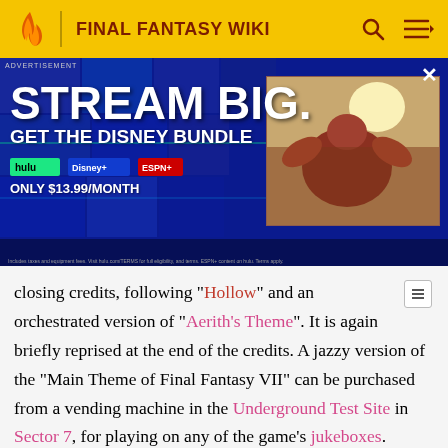FINAL FANTASY WIKI
[Figure (photo): Advertisement banner: STREAM BIG. GET THE DISNEY BUNDLE. hulu Disney+ ESPN+ ONLY $13.99/MONTH. Right side shows a movie/show thumbnail image of a person in reddish scene outdoors.]
closing credits, following "Hollow" and an orchestrated version of "Aerith's Theme". It is again briefly reprised at the end of the credits. A jazzy version of the "Main Theme of Final Fantasy VII" can be purchased from a vending machine in the Underground Test Site in Sector 7, for playing on any of the game's jukeboxes.
The theme plays in the Sector 7 undercity as the location was intended to serve as a central hub and to feel like